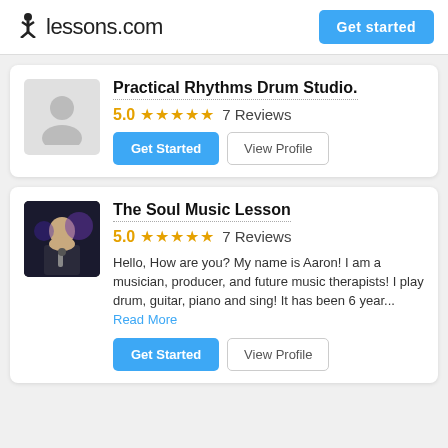lessons.com
Get started
Practical Rhythms Drum Studio.
5.0  ★★★★★  7 Reviews
Get Started  View Profile
The Soul Music Lesson
5.0  ★★★★★  7 Reviews
Hello, How are you? My name is Aaron! I am a musician, producer, and future music therapists! I play drum, guitar, piano and sing! It has been 6 year... Read More
Get Started  View Profile